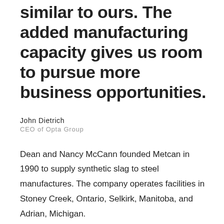similar to ours. The added manufacturing capacity gives us room to pursue more business opportunities.
John Dietrich
CEO of Opta Group
Dean and Nancy McCann founded Metcan in 1990 to supply synthetic slag to steel manufactures. The company operates facilities in Stoney Creek, Ontario, Selkirk, Manitoba, and Adrian, Michigan.
"This was a strategic alliance with Opta b...